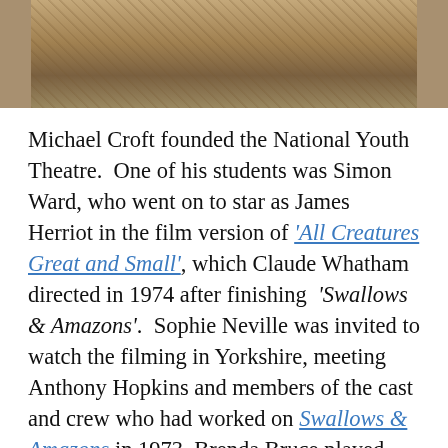[Figure (photo): Partial top photo showing ground/earth with rope and tree trunk, cropped at top of page]
Michael Croft founded the National Youth Theatre.  One of his students was Simon Ward, who went on to star as James Herriot in the film version of 'All Creatures Great and Small', which Claude Whatham directed in 1974 after finishing  'Swallows & Amazons'.  Sophie Neville was invited to watch the filming in Yorkshire, meeting Anthony Hopkins and members of the cast and crew who had worked on Swallows & Amazons in 1973. Brenda Bruce played Mrs Harbottle and Wilfred Josephs composed the music, Terry Needham was the Location Manager and Ronnie Cogan the Hairdresser.